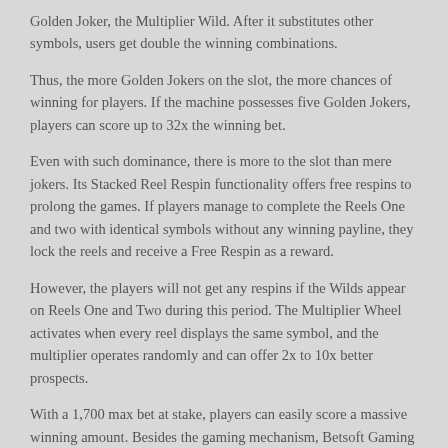Golden Joker, the Multiplier Wild. After it substitutes other symbols, users get double the winning combinations.
Thus, the more Golden Jokers on the slot, the more chances of winning for players. If the machine possesses five Golden Jokers, players can score up to 32x the winning bet.
Even with such dominance, there is more to the slot than mere jokers. Its Stacked Reel Respin functionality offers free respins to prolong the games. If players manage to complete the Reels One and two with identical symbols without any winning payline, they lock the reels and receive a Free Respin as a reward.
However, the players will not get any respins if the Wilds appear on Reels One and Two during this period. The Multiplier Wheel activates when every reel displays the same symbol, and the multiplier operates randomly and can offer 2x to 10x better prospects.
With a 1,700 max bet at stake, players can easily score a massive winning amount. Besides the gaming mechanism, Betsoft Gaming has also invested efforts into quick loading and deployment to